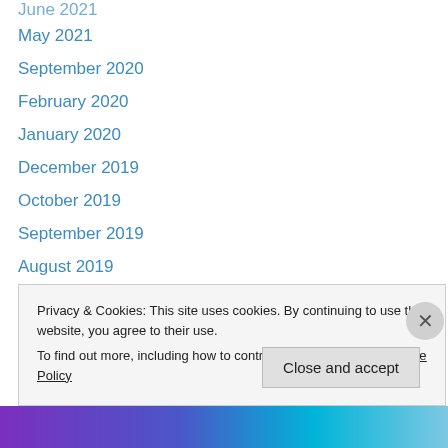June 2021
May 2021
September 2020
February 2020
January 2020
December 2019
October 2019
September 2019
August 2019
July 2019
April 2019
February 2019
January 2019
December 2018
Privacy & Cookies: This site uses cookies. By continuing to use this website, you agree to their use.
To find out more, including how to control cookies, see here: Cookie Policy
Close and accept